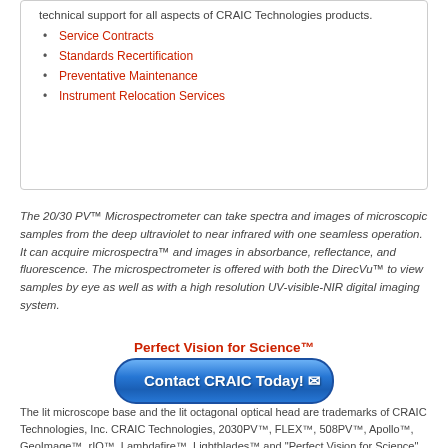technical support for all aspects of CRAIC Technologies products.
Service Contracts
Standards Recertification
Preventative Maintenance
Instrument Relocation Services
The 20/30 PV™ Microspectrometer can take spectra and images of microscopic samples from the deep ultraviolet to near infrared with one seamless operation. It can acquire microspectra™ and images in absorbance, reflectance, and fluorescence. The microspectrometer is offered with both the DirecVu™ to view samples by eye as well as with a high resolution UV-visible-NIR digital imaging system.
Perfect Vision for Science™
[Figure (other): Blue rounded rectangle button with text 'Contact CRAIC Today!' and envelope icon]
The lit microscope base and the lit octagonal optical head are trademarks of CRAIC Technologies, Inc. CRAIC Technologies, 2030PV™, FLEX™, 508PV™, Apollo™, GeoImage™, rIQ™, Lambdafire™, Lightblades™ and "Perfect Vision for Science" are